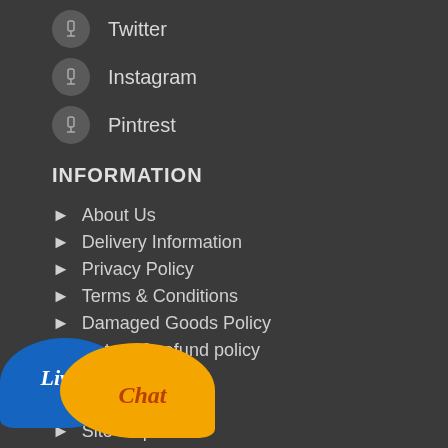Twitter
Instagram
Pintrest
INFORMATION
About Us
Delivery Information
Privacy Policy
Terms & Conditions
Damaged Goods Policy
Return & refund policy
Contact Us
Return Product
Site Map
[Figure (illustration): Live Chat button with two speech bubbles: blue bubble with 'Live' text and orange bubble with 'Chat' text]